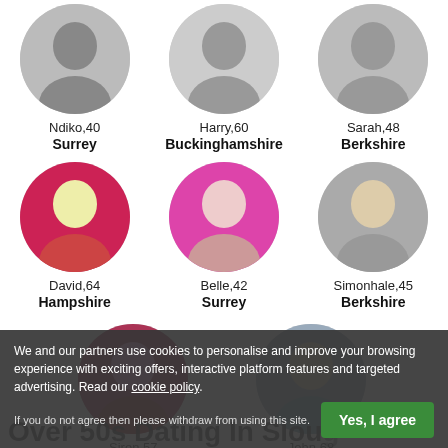[Figure (screenshot): Dating website profile grid showing user avatars with names, ages, and locations. Row 1: Ndiko 40 Surrey, Harry 60 Buckinghamshire, Sarah 48 Berkshire. Row 2: David 64 Hampshire, Belle 42 Surrey, Simonhale 45 Berkshire. Row 3: Siren 57 Oxfordshire, John 68 Buckinghamshire.]
We and our partners use cookies to personalise and improve your browsing experience with exciting offers, interactive platform features and targeted advertising. Read our cookie policy.
If you do not agree then please withdraw from using this site.
Over 50s Dating In Slough